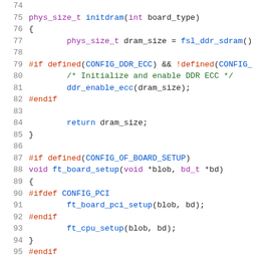Source code listing, lines 74-95, C preprocessor/function code
74: (empty)
75: phys_size_t initdram(int board_type)
76: {
77:         phys_size_t dram_size = fsl_ddr_sdram()
78: (empty)
79: #if defined(CONFIG_DDR_ECC) && !defined(CONFIG_...
80:         /* Initialize and enable DDR ECC */
81:         ddr_enable_ecc(dram_size);
82: #endif
83: (empty)
84:         return dram_size;
85: }
86: (empty)
87: #if defined(CONFIG_OF_BOARD_SETUP)
88: void ft_board_setup(void *blob, bd_t *bd)
89: {
90: #ifdef CONFIG_PCI
91:         ft_board_pci_setup(blob, bd);
92: #endif
93:         ft_cpu_setup(blob, bd);
94: }
95: #endif